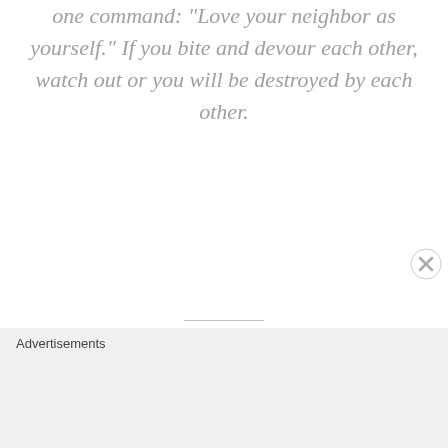one command: "Love your neighbor as yourself." If you bite and devour each other, watch out or you will be destroyed by each other.
So I say, walk by the Spirit, and you will not gratify the desires of the flesh. For the flesh desires what is contrary to the Spirit, and the
Advertisements